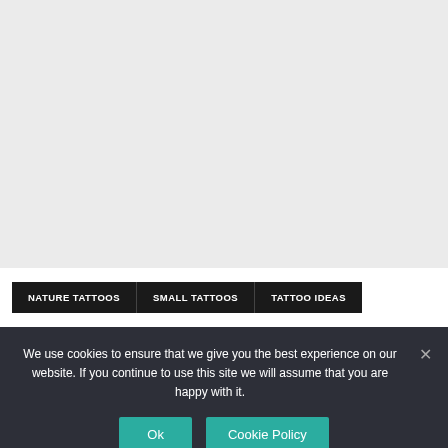[Figure (other): Light gray placeholder area filling the top portion of the page]
NATURE TATTOOS   SMALL TATTOOS   TATTOO IDEAS
We use cookies to ensure that we give you the best experience on our website. If you continue to use this site we will assume that you are happy with it.
Ok   Cookie Policy